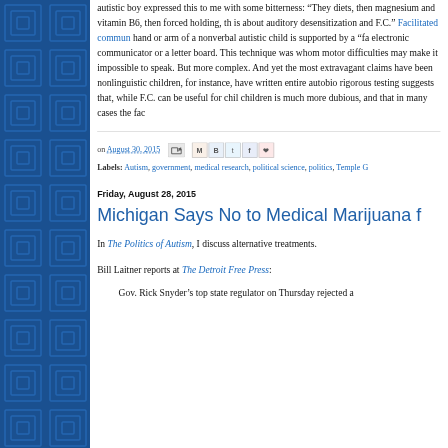autistic boy expressed this to me with some bitterness: "They diets, then magnesium and vitamin B6, then forced holding, th is about auditory desensitization and F.C." Facilitated commun hand or arm of a nonverbal autistic child is supported by a "fa electronic communicator or a letter board. This technique was whom motor difficulties may make it impossible to speak. But more complex. And yet the most extravagant claims have been nonlinguistic children, for instance, have written entire autobio rigorous testing suggests that, while F.C. can be useful for chil children is much more dubious, and that in many cases the fac
on August 30, 2015
Labels: Autism, government, medical research, political science, politics, Temple G
Friday, August 28, 2015
Michigan Says No to Medical Marijuana f
In The Politics of Autism, I discuss alternative treatments.
Bill Laitner reports at The Detroit Free Press:
Gov. Rick Snyder’s top state regulator on Thursday rejected a